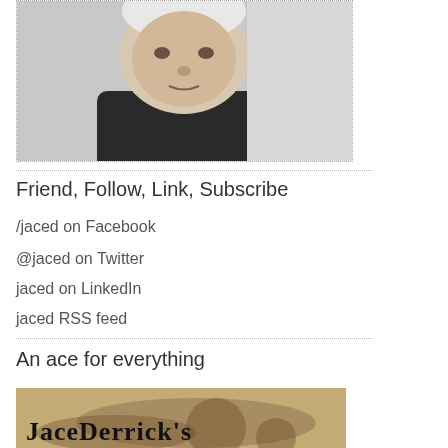[Figure (photo): Close-up photo of an elderly man with white/grey hair, cropped at top, with dotted border]
Friend, Follow, Link, Subscribe
/jaced on Facebook
@jaced on Twitter
jaced on LinkedIn
jaced RSS feed
jaced email updates
An ace for everything
[Figure (photo): Partial view of a book cover with aged/worn appearance showing decorative text that appears to read 'Jack Parish' or similar, on a tan/brown textured background]